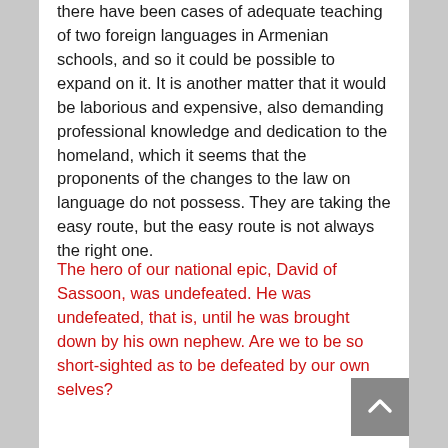there have been cases of adequate teaching of two foreign languages in Armenian schools, and so it could be possible to expand on it. It is another matter that it would be laborious and expensive, also demanding professional knowledge and dedication to the homeland, which it seems that the proponents of the changes to the law on language do not possess. They are taking the easy route, but the easy route is not always the right one.
The hero of our national epic, David of Sassoon, was undefeated. He was undefeated, that is, until he was brought down by his own nephew. Are we to be so short-sighted as to be defeated by our own selves?